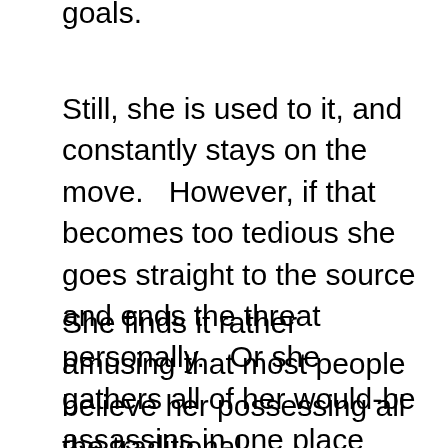goals.
Still, she is used to it, and constantly stays on the move.   However, if that becomes too tedious she goes straight to the source and ends the threat personally.   Or she gathers all of her would-be assassins in one place and deals with them all in one blow according to her own rules.
She finds it rather amusing that most people believe her possessing all the traditional vulnerabilities of supernatural vampires.   In reality, neither crosses nor sunlight can damage her, and she just loves